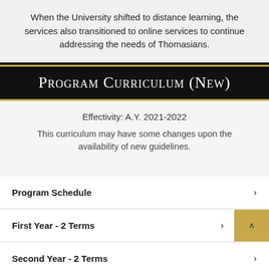When the University shifted to distance learning, the services also transitioned to online services to continue addressing the needs of Thomasians.
Program Curriculum (New)
Effectivity: A.Y. 2021-2022
This curriculum may have some changes upon the availability of new guidelines.
Program Schedule
First Year - 2 Terms
Second Year - 2 Terms
Third Year - 2 Terms